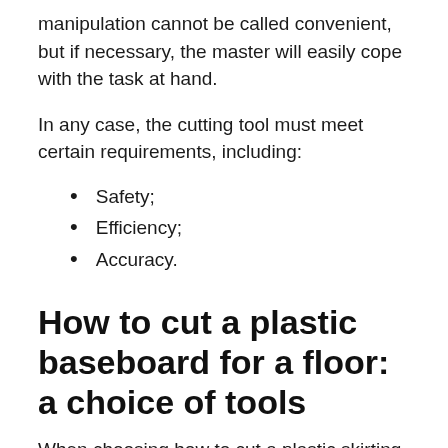manipulation cannot be called convenient, but if necessary, the master will easily cope with the task at hand.
In any case, the cutting tool must meet certain requirements, including:
Safety;
Efficiency;
Accuracy.
How to cut a plastic baseboard for a floor: a choice of tools
When choosing how to cut a plastic skirting board, the preference of millions of fair homeowners...